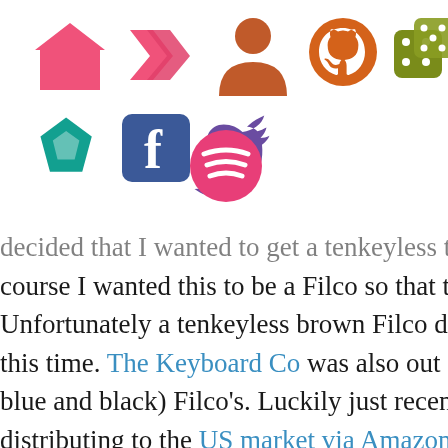[Figure (infographic): Navigation icon bar with social/profile icons: home (pink), tags (pink), person (orange-brown), GitHub (dark orange), dice/games (olive green), Favicons/craft (teal), Facebook (blue), Twitter (purple), and Spotify (pink) icons arranged in two rows.]
decided that I wanted to get a tenkeyless to go w... course I wanted this to be a Filco so that they mat... Unfortunately a tenkeyless brown Filco didn't app... this time. The Keyboard Co was also out of stock o... blue and black) Filco's. Luckily just recently the k... distributing to the US market via Amazon! This is ... that's the easiest way to get a Filco keyboard is th... You can even get Prime shipping if you are a prim... ordered a tenkeyless brown Filco from amazon la... ordered many assecories (Blue WASD set, Red Esc...